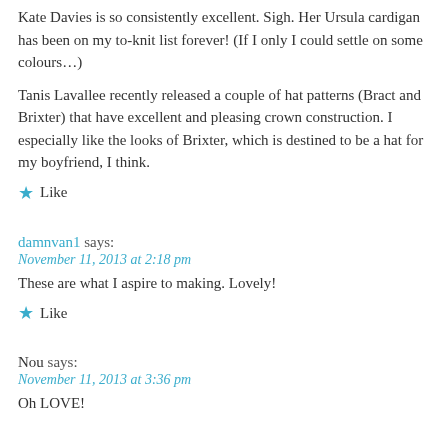Kate Davies is so consistently excellent. Sigh. Her Ursula cardigan has been on my to-knit list forever! (If I only I could settle on some colours…)
Tanis Lavallee recently released a couple of hat patterns (Bract and Brixter) that have excellent and pleasing crown construction. I especially like the looks of Brixter, which is destined to be a hat for my boyfriend, I think.
★  Like
damnvan1 says:
November 11, 2013 at 2:18 pm
These are what I aspire to making. Lovely!
★  Like
Nou says:
November 11, 2013 at 3:36 pm
Oh LOVE!